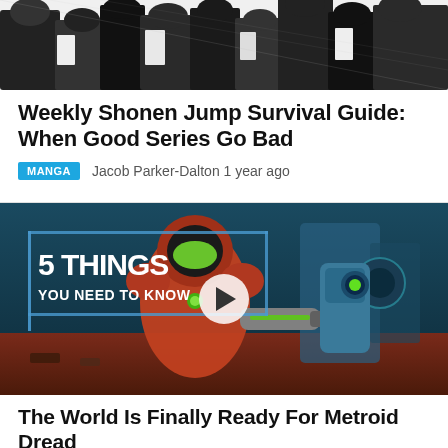[Figure (illustration): Black and white manga-style illustration showing a crowd of characters in suits and dark clothing]
Weekly Shonen Jump Survival Guide: When Good Series Go Bad
MANGA   Jacob Parker-Dalton 1 year ago
[Figure (screenshot): Video thumbnail showing Metroid Dread character Samus in armor with text '5 THINGS YOU NEED TO KNOW' and a play button overlay]
The World Is Finally Ready For Metroid Dread